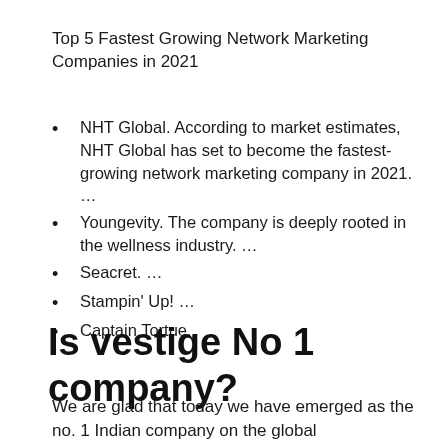Top 5 Fastest Growing Network Marketing Companies in 2021
NHT Global. According to market estimates, NHT Global has set to become the fastest-growing network marketing company in 2021. …
Youngevity. The company is deeply rooted in the wellness industry. …
Seacret. …
Stampin' Up! …
Captain Tortue.
Is vestige No 1 company?
We are glad that today we have emerged as the no. 1 Indian company on the global